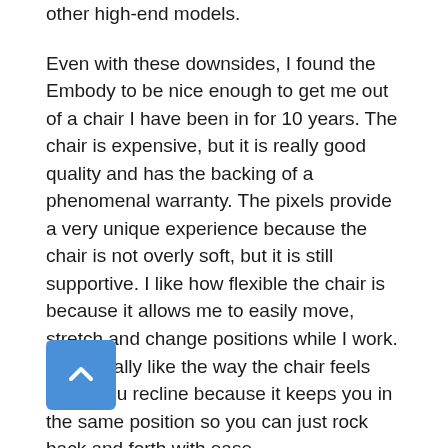other high-end models.
Even with these downsides, I found the Embody to be nice enough to get me out of a chair I have been in for 10 years. The chair is expensive, but it is really good quality and has the backing of a phenomenal warranty. The pixels provide a very unique experience because the chair is not overly soft, but it is still supportive. I like how flexible the chair is because it allows me to easily move, stretch and change positions while I work. I also really like the way the chair feels when you recline because it keeps you in the same position so you can just rock back and forth with ease.
The Embody is not going to be for everyone. Not everyone wants to commit $1700+ to an office chair; however,I do see the value in the chair. I can definitely see the argument that the price is fair for what you get...